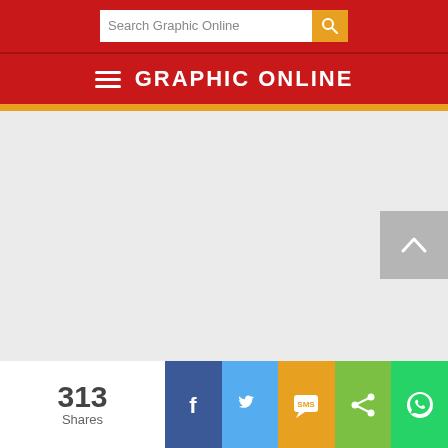Search Graphic Online
GRAPHIC ONLINE
[Figure (screenshot): Large empty grey content area placeholder]
313 Shares
[Figure (infographic): Social share bar with Facebook, Twitter, SMS, Share, and WhatsApp buttons]